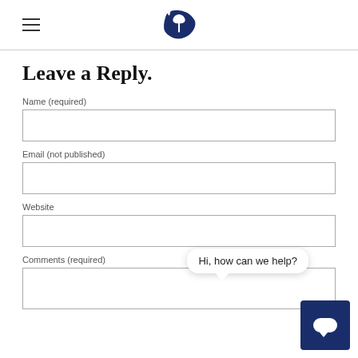South Carolina state government website header with hamburger menu and SC logo
Leave a Reply.
Name (required)
Email (not published)
Website
Comments (required)
[Figure (screenshot): Chat support widget with bubble saying 'Hi, how can we help?' and dark blue chat button icon]